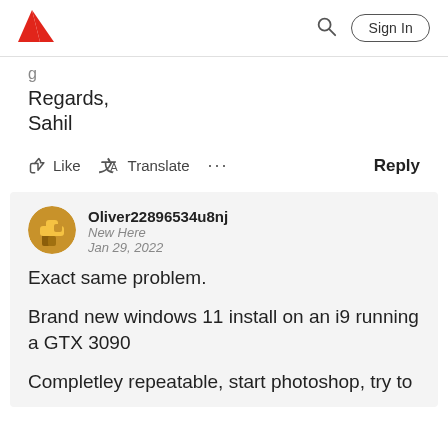Adobe | Sign In
Regards,
Sahil
Like  Translate  ...  Reply
Oliver22896534u8nj
New Here
Jan 29, 2022

Exact same problem.

Brand new windows 11 install on an i9 running a GTX 3090

Completley repeatable, start photoshop, try to